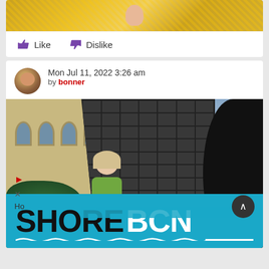[Figure (photo): Top portion of a previous post showing decorative golden elements with skin-toned detail visible, cropped at top]
Like   Dislike
Mon Jul 11, 2022 3:26 am
by bonner
[Figure (photo): Fashion photo of blonde woman in green outfit standing in front of dark metal lattice structure and brick building with arched windows. Overlaid with SHORE BCN logo banner in cyan/teal color at bottom.]